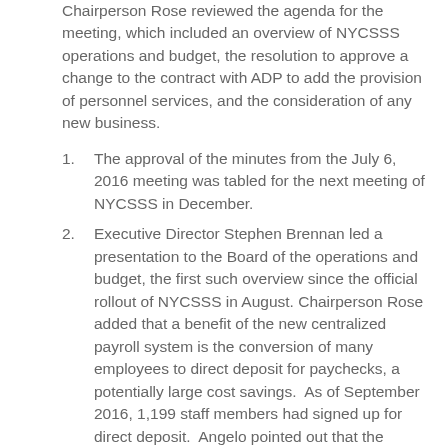Chairperson Rose reviewed the agenda for the meeting, which included an overview of NYCSSS operations and budget, the resolution to approve a change to the contract with ADP to add the provision of personnel services, and the consideration of any new business.
The approval of the minutes from the July 6, 2016 meeting was tabled for the next meeting of NYCSSS in December.
Executive Director Stephen Brennan led a presentation to the Board of the operations and budget, the first such overview since the official rollout of NYCSSS in August. Chairperson Rose added that a benefit of the new centralized payroll system is the conversion of many employees to direct deposit for paychecks, a potentially large cost savings. As of September 2016, 1,199 staff members had signed up for direct deposit. Angelo pointed out that the conversion to direct deposit not only offers a large potential savings to the City, but cuts out check cashing and other potential predatory fees for workers.